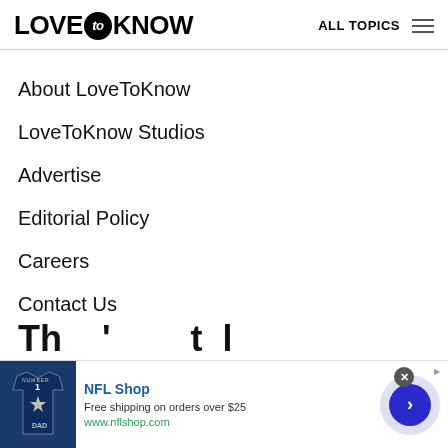LOVE to KNOW   ALL TOPICS
About LoveToKnow
LoveToKnow Studios
Advertise
Editorial Policy
Careers
Contact Us
[Figure (screenshot): NFL Shop advertisement banner at the bottom of the page showing a Dallas Cowboys jersey, NFL Shop text, 'Free shipping on orders over $25', 'www.nflshop.com', a close button, and a forward arrow button]